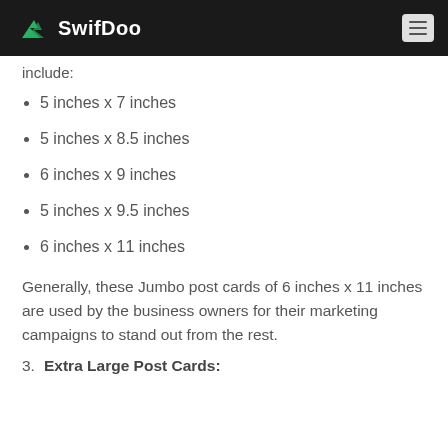SwifDoo
include:
5 inches x 7 inches
5 inches x 8.5 inches
6 inches x 9 inches
5 inches x 9.5 inches
6 inches x 11 inches
Generally, these Jumbo post cards of 6 inches x 11 inches are used by the business owners for their marketing campaigns to stand out from the rest.
3. Extra Large Post Cards: